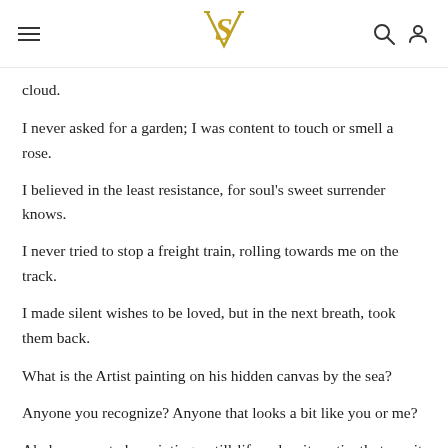[hamburger menu] [S logo] [search icon] [user icon]
cloud.
I never asked for a garden; I was content to touch or smell a rose.
I believed in the least resistance, for soul's sweet surrender knows.
I never tried to stop a freight train, rolling towards me on the track.
I made silent wishes to be loved, but in the next breath, took them back.
What is the Artist painting on his hidden canvas by the sea?
Anyone you recognize? Anyone that looks a bit like you or me?
Ah, he seems to be painting a still-life as he sits patiently to wait
for this singular bloom to finally flower his happenstance of fate.